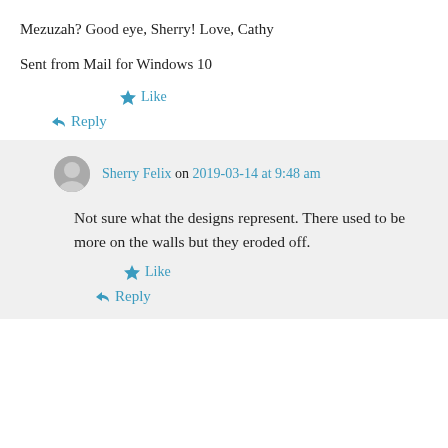Mezuzah? Good eye, Sherry! Love, Cathy
Sent from Mail for Windows 10
Like
Reply
Sherry Felix on 2019-03-14 at 9:48 am
Not sure what the designs represent. There used to be more on the walls but they eroded off.
Like
Reply